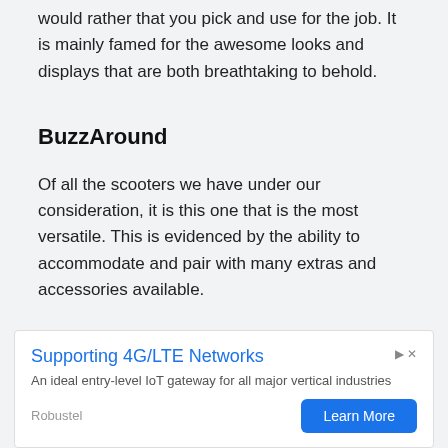would rather that you pick and use for the job. It is mainly famed for the awesome looks and displays that are both breathtaking to behold.
BuzzAround
Of all the scooters we have under our consideration, it is this one that is the most versatile. This is evidenced by the ability to accommodate and pair with many extras and accessories available.
Pride Mobility
[Figure (other): Advertisement banner for Robustel promoting 4G/LTE network IoT gateway with a Learn More button]